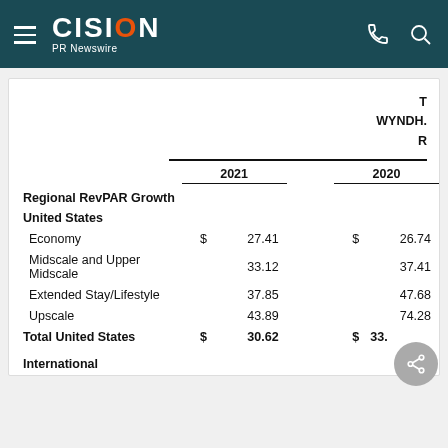CISION PR Newswire
T
WYNDH.
R
|  | 2021 |  | 2020 |  |
| --- | --- | --- | --- | --- |
| Regional RevPAR Growth |  |  |  |  |
| United States |  |  |  |  |
| Economy | $ | 27.41 | $ | 26.74 |
| Midscale and Upper Midscale |  | 33.12 |  | 37.41 |
| Extended Stay/Lifestyle |  | 37.85 |  | 47.68 |
| Upscale |  | 43.89 |  | 74.28 |
| Total United States | $ | 30.62 | $ | 33. |
| International |  |  |  |  |